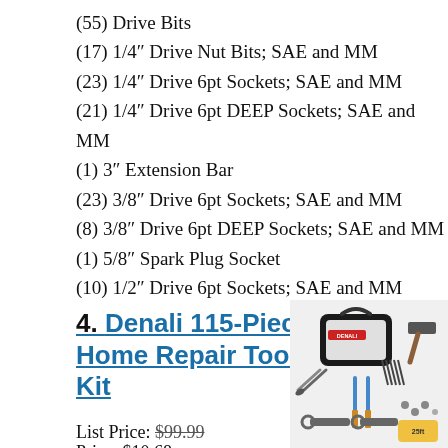(55) Drive Bits
(17) 1/4" Drive Nut Bits; SAE and MM
(23) 1/4" Drive 6pt Sockets; SAE and MM
(21) 1/4" Drive 6pt DEEP Sockets; SAE and MM
(1) 3" Extension Bar
(23) 3/8" Drive 6pt Sockets; SAE and MM
(8) 3/8" Drive 6pt DEEP Sockets; SAE and MM
(1) 5/8" Spark Plug Socket
(10) 1/2" Drive 6pt Sockets; SAE and MM
4. Denali 115-Piece Home Repair Tool Kit
List Price: $99.99
Price: $10.68
[Figure (photo): Photo of Denali 115-piece home repair tool kit showing a black tool bag labeled DENALI surrounded by various tools including pliers, screwdrivers, drill bits, and sockets]